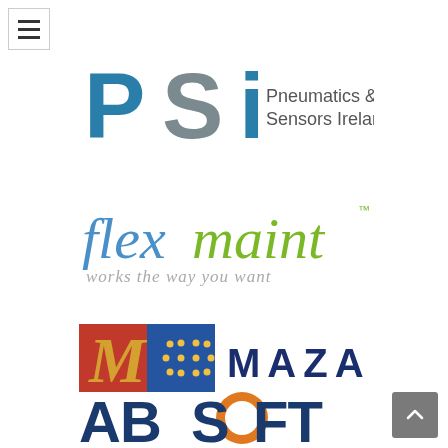[Figure (logo): Hamburger menu button (three horizontal lines) in top-left corner with border]
[Figure (logo): PSI Pneumatics & Sensors Ireland logo — large teal/gray 'PSI' letters with company name text]
[Figure (logo): Flexmaint logo — 'flex' in blue and 'maint' in green with tagline 'works the way you want' in gray]
[Figure (logo): Mazars logo — red square with M and blue square with yellow star pattern, followed by 'MAZARS' in dark blue spaced capitals]
[Figure (logo): Absoft logo — 'ABSOFT' in bold dark blue capitals with orange circular O, partially visible at bottom]
[Figure (other): Scroll-to-top button (gray square with upward chevron) in bottom-right corner]